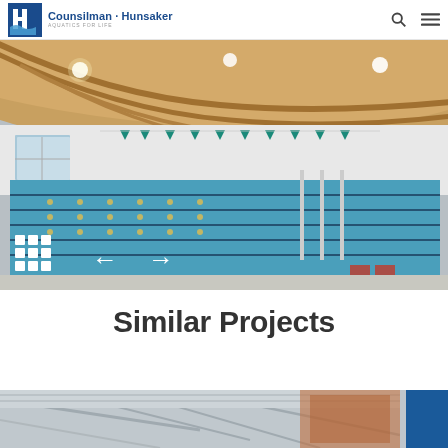[Figure (logo): Counsilman-Hunsaker Aquatics for Life logo with blue wave graphic and company name]
[Figure (photo): Interior photo of an indoor swimming pool facility with lane ropes, wooden arched ceiling, and teal pennant flags]
Similar Projects
[Figure (photo): Partial view of another indoor aquatic facility, partially cut off at the bottom of the page]